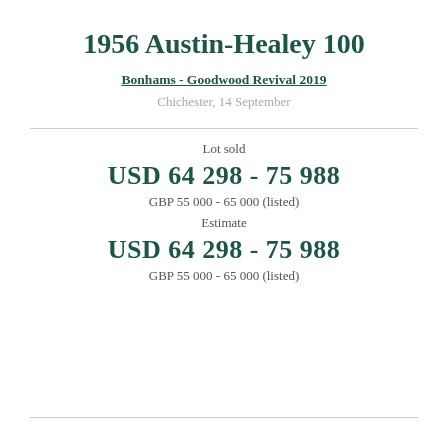1956 Austin-Healey 100
Bonhams - Goodwood Revival 2019
Chichester, 14 September
Lot sold
USD 64 298 - 75 988
GBP 55 000 - 65 000 (listed)
Estimate
USD 64 298 - 75 988
GBP 55 000 - 65 000 (listed)